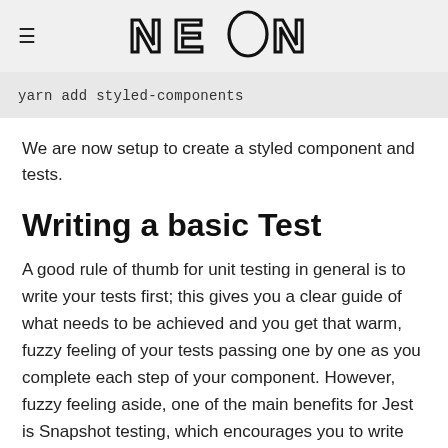≡  NEON
yarn add styled-components
We are now setup to create a styled component and tests.
Writing a basic Test
A good rule of thumb for unit testing in general is to write your tests first; this gives you a clear guide of what needs to be achieved and you get that warm, fuzzy feeling of your tests passing one by one as you complete each step of your component. However, fuzzy feeling aside, one of the main benefits for Jest is Snapshot testing, which encourages you to write your component first and test the difference between the outputs after...